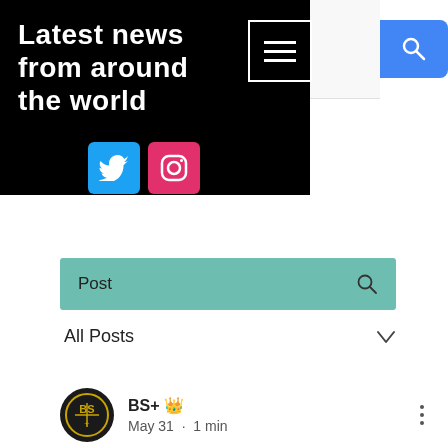[Figure (screenshot): Website header banner with black background showing title 'Latest news from around the world', hamburger menu icon, blue search button, Twitter and Instagram social icons]
Latest news from around the world
[Figure (other): Teal/green search bar with 'Post' label and search icon]
All Posts ∨
BS+ 👑 May 31 · 1 min